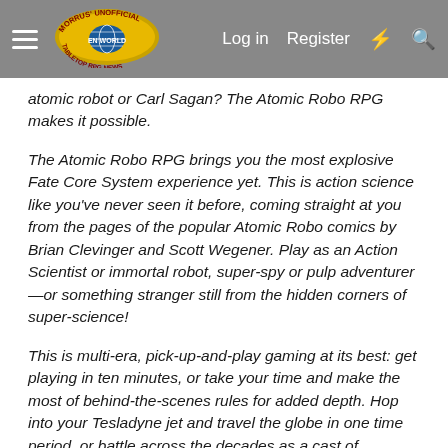Morrus' Unofficial Tabletop RPG News — Log in | Register
atomic robot or Carl Sagan? The Atomic Robo RPG makes it possible.
The Atomic Robo RPG brings you the most explosive Fate Core System experience yet. This is action science like you've never seen it before, coming straight at you from the pages of the popular Atomic Robo comics by Brian Clevinger and Scott Wegener. Play as an Action Scientist or immortal robot, super-spy or pulp adventurer—or something stranger still from the hidden corners of super-science!
This is multi-era, pick-up-and-play gaming at its best: get playing in ten minutes, or take your time and make the most of behind-the-scenes rules for added depth. Hop into your Tesladyne jet and travel the globe in one time period, or battle across the decades as a cast of